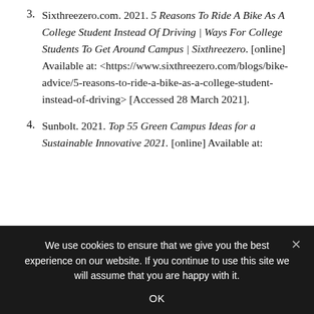Sixthreezero.com. 2021. 5 Reasons To Ride A Bike As A College Student Instead Of Driving | Ways For College Students To Get Around Campus | Sixthreezero. [online] Available at: <https://www.sixthreezero.com/blogs/bike-advice/5-reasons-to-ride-a-bike-as-a-college-student-instead-of-driving> [Accessed 28 March 2021].
Sunbolt. 2021. Top 55 Green Campus Ideas for a Sustainable Innovative 2021. [online] Available at:
We use cookies to ensure that we give you the best experience on our website. If you continue to use this site we will assume that you are happy with it.
OK